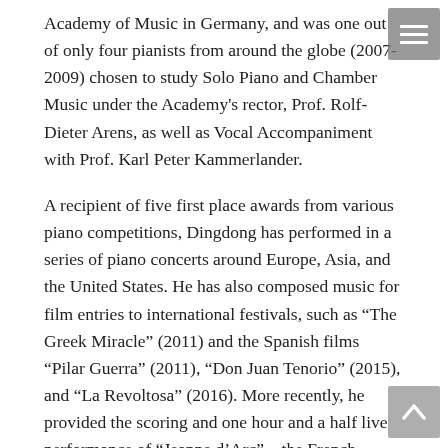Academy of Music in Germany, and was one out of only four pianists from around the globe (2007-2009) chosen to study Solo Piano and Chamber Music under the Academy's rector, Prof. Rolf-Dieter Arens, as well as Vocal Accompaniment with Prof. Karl Peter Kammerlander.
A recipient of five first place awards from various piano competitions, Dingdong has performed in a series of piano concerts around Europe, Asia, and the United States. He has also composed music for film entries to international festivals, such as "The Greek Miracle" (2011) and the Spanish films "Pilar Guerra" (2011), "Don Juan Tenorio" (2015), and "La Revoltosa" (2016). More recently, he provided the scoring and one hour and a half live performance of "Jeanne d'Arc" – the French Embassy's entry to the 2018 International Silent Film Festival Manila. Filipino silent film expert and critic Teddy Co described Dingdong's scoring of the film as "the best version